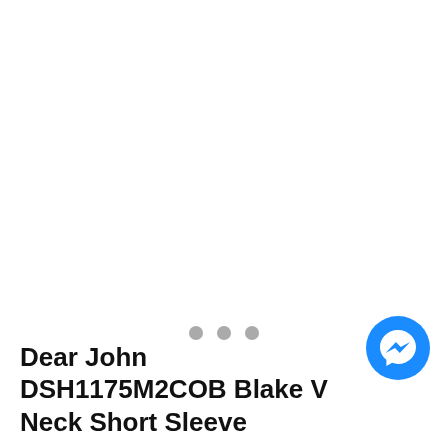[Figure (other): White background product image area (image not loaded/visible)]
[Figure (other): Three pagination dots (two light gray, circular)]
[Figure (other): Facebook Messenger floating button icon (blue circle with white lightning bolt messenger logo)]
Dear John DSH1175M2COB Blake V Neck Short Sleeve